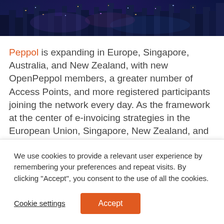[Figure (photo): Aerial night cityscape with illuminated skyscrapers and city lights in blue and purple tones]
Peppol is expanding in Europe, Singapore, Australia, and New Zealand, with new OpenPeppol members, a greater number of Access Points, and more registered participants joining the network every day. As the framework at the center of e-invoicing strategies in the European Union, Singapore, New Zealand, and Australia, there is a greater demand for
We use cookies to provide a relevant user experience by remembering your preferences and repeat visits. By clicking “Accept”, you consent to the use of all the cookies.
Cookie settings
Accept